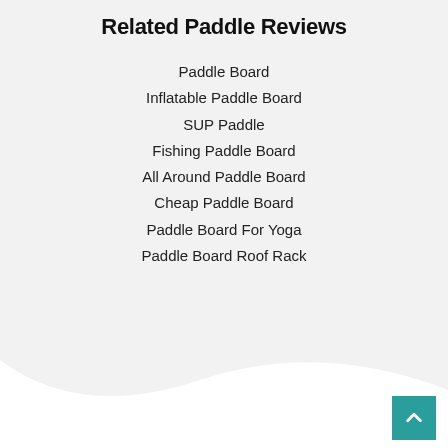Related Paddle Reviews
Paddle Board
Inflatable Paddle Board
SUP Paddle
Fishing Paddle Board
All Around Paddle Board
Cheap Paddle Board
Paddle Board For Yoga
Paddle Board Roof Rack
[Figure (illustration): Wave-shaped divider between light gray and white sections, with a back-to-top button in teal in the bottom right corner]